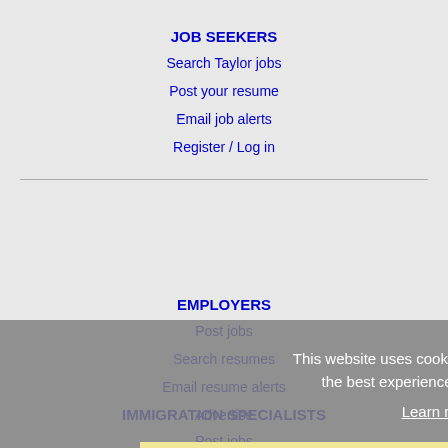JOB SEEKERS
Search Taylor jobs
Post your resume
Email job alerts
Register / Log in
EMPLOYERS
Post jobs
Search resumes
Email resume alerts
Advertise
This website uses cookies to ensure you get the best experience on our website.
Learn more
Got it!
IMMIGRATION SPECIALISTS
Post jobs